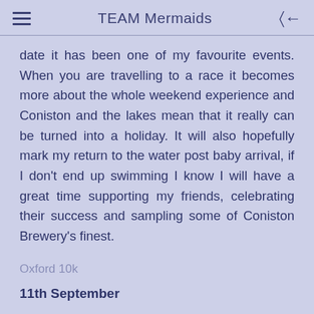TEAM Mermaids
date it has been one of my favourite events. When you are travelling to a race it becomes more about the whole weekend experience and Coniston and the lakes mean that it really can be turned into a holiday. It will also hopefully mark my return to the water post baby arrival, if I don't end up swimming I know I will have a great time supporting my friends, celebrating their success and sampling some of Coniston Brewery's finest.
Oxford 10k
11th September